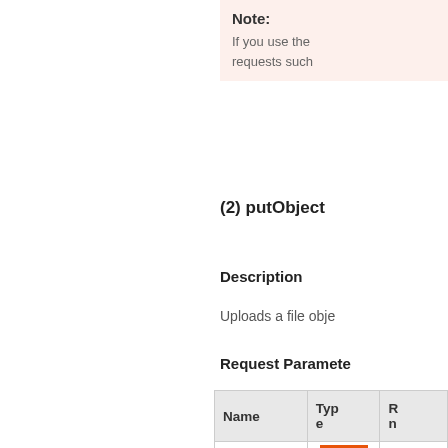Note: If you use the... requests such...
(2) putObject
Description
Uploads a file obje...
Request Parameter...
| Name | Type | R... |
| --- | --- | --- |
| bucket | [icon] | t... |
| objectKey | String | t... |